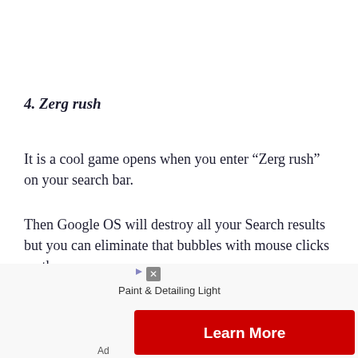4. Zerg rush
It is a cool game opens when you enter “Zerg rush” on your search bar.
Then Google OS will destroy all your Search results but you can eliminate that bubbles with mouse clicks on them.
Have fun and don’t let Google OS destroy your
[Figure (other): Advertisement banner: Paint & Detailing Light with red Learn More button and ad controls]
Ad